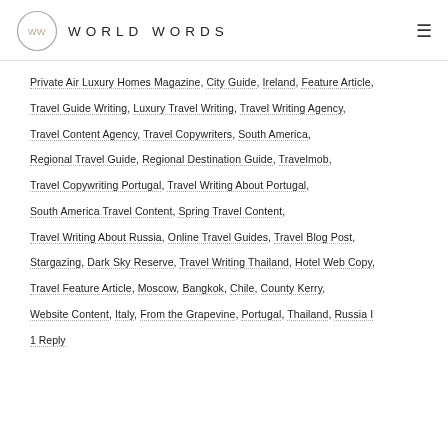WORLD WORDS
Private Air Luxury Homes Magazine, City Guide, Ireland, Feature Article,
Travel Guide Writing, Luxury Travel Writing, Travel Writing Agency,
Travel Content Agency, Travel Copywriters, South America,
Regional Travel Guide, Regional Destination Guide, Travelmob,
Travel Copywriting Portugal, Travel Writing About Portugal,
South America Travel Content, Spring Travel Content,
Travel Writing About Russia, Online Travel Guides, Travel Blog Post,
Stargazing, Dark Sky Reserve, Travel Writing Thailand, Hotel Web Copy,
Travel Feature Article, Moscow, Bangkok, Chile, County Kerry,
Website Content, Italy, From the Grapevine, Portugal, Thailand, Russia I
1 Reply